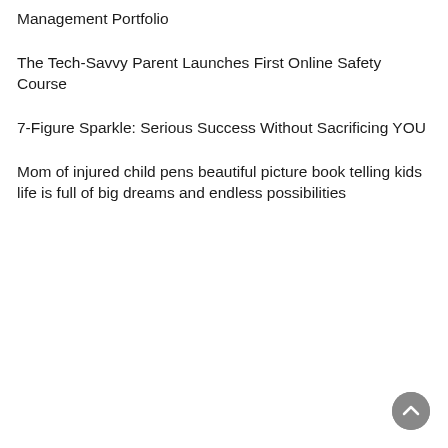Management Portfolio
The Tech-Savvy Parent Launches First Online Safety Course
7-Figure Sparkle: Serious Success Without Sacrificing YOU
Mom of injured child pens beautiful picture book telling kids life is full of big dreams and endless possibilities